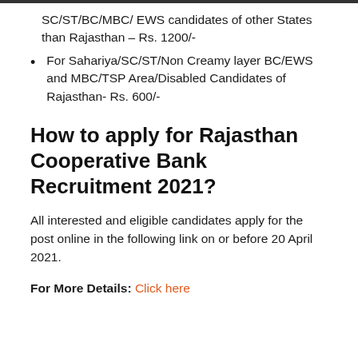SC/ST/BC/MBC/ EWS candidates of other States than Rajasthan – Rs. 1200/-
For Sahariya/SC/ST/Non Creamy layer BC/EWS and MBC/TSP Area/Disabled Candidates of Rajasthan- Rs. 600/-
How to apply for Rajasthan Cooperative Bank Recruitment 2021?
All interested and eligible candidates apply for the post online in the following link on or before 20 April 2021.
For More Details: Click here